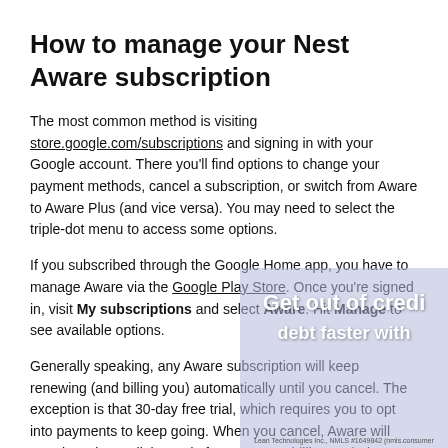How to manage your Nest Aware subscription
The most common method is visiting store.google.com/subscriptions and signing in with your Google account. There you'll find options to change your payment methods, cancel a subscription, or switch from Aware to Aware Plus (and vice versa). You may need to select the triple-dot menu to access some options.
If you subscribed through the Google Home app, you have to manage Aware via the Google Play Store. Once you're signed in, visit My subscriptions and select Aware. Hit Manage to see available options.
Generally speaking, any Aware subscription will keep renewing (and billing you) automatically until you cancel. The exception is that 30-day free trial, which requires you to opt into payments to keep going. When you cancel, Aware will remain active until the end of your current billing period, whether it's a month or a
[Figure (other): Partially visible advertisement overlay showing text 'Get out of credit debt faster with' on a purple/blue tinted background with scattered visual elements.]